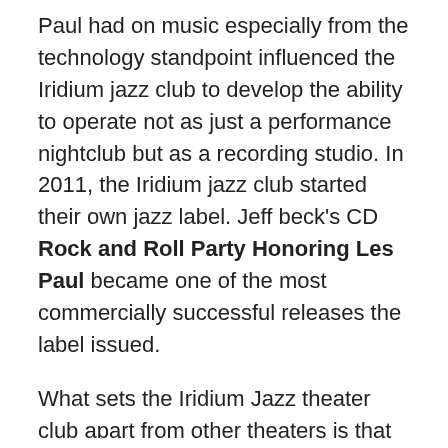Paul had on music especially from the technology standpoint influenced the Iridium jazz club to develop the ability to operate not as just a performance nightclub but as a recording studio. In 2011, the Iridium jazz club started their own jazz label. Jeff beck's CD Rock and Roll Party Honoring Les Paul became one of the most commercially successful releases the label issued.
What sets the Iridium Jazz theater club apart from other theaters is that many artists that perform there will do a short residency instead of just all single night show. In similar fashion to the Blue Note Cafe, musical artist like Mike Stern will book themselves there for a few nights in a row. For musicians, a residency makes performing much more easier because there isn't a need to breakdown and set up equipment like they do when it's a single one night show. It's also a great opportunity for fans who may